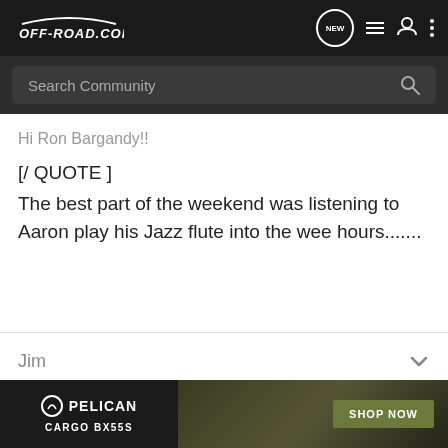OFF-ROAD.COM
Search Community
Hi Ron Bargandy!!
[/ QUOTE ]
The best part of the weekend was listening to Aaron play his Jazz flute into the wee hours.......
Jim
[Figure (infographic): Pelican Cargo BX55S advertisement banner with logo, product image, and SHOP NOW button]